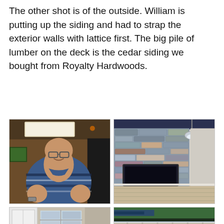The other shot is of the outside. William is putting up the siding and had to strap the exterior walls with lattice first. The big pile of lumber on the deck is the cedar siding we bought from Royalty Hardwoods.
[Figure (photo): Grid of four photos: top-left shows a bald man with glasses wearing a blue striped polo shirt smiling indoors; top-right shows a stone fireplace wall with a rectangular gas insert and light wood floors; bottom-left shows an interior room with large windows and white cabinets; bottom-right shows an exterior view with roof overhang and lattice strapping visible.]